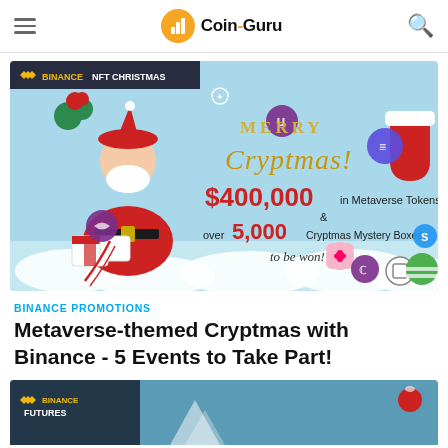Coin Guru
[Figure (illustration): Binance NFT Christmas promotional banner showing Santa Claus with gifts, text 'Merry Cryptmas! $400,000 in Metaverse Tokens & over 5,000 Cryptmas Mystery Boxes to be won!' on a light blue background with various crypto token logos.]
BINANCE PROMOTIONS
Metaverse-themed Cryptmas with Binance - 5 Events to Take Part!
[Figure (illustration): Binance Futures promotional banner, partially visible at bottom of page.]